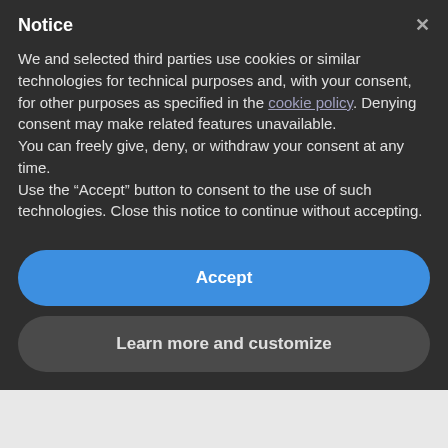Notice
We and selected third parties use cookies or similar technologies for technical purposes and, with your consent, for other purposes as specified in the cookie policy. Denying consent may make related features unavailable.
You can freely give, deny, or withdraw your consent at any time.
Use the “Accept” button to consent to the use of such technologies. Close this notice to continue without accepting.
Accept
Learn more and customize